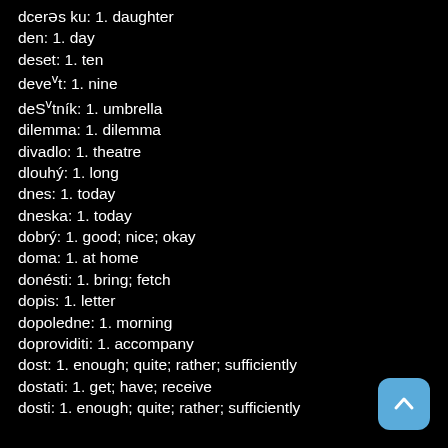dcerǝs ku: 1. daughter
den: 1. day
deset: 1. ten
deveˈt: 1. nine
deSˈtník: 1. umbrella
dilemma: 1. dilemma
divadlo: 1. theatre
dlouhý: 1. long
dnes: 1. today
dneska: 1. today
dobrý: 1. good; nice; okay
doma: 1. at home
donésti: 1. bring; fetch
dopis: 1. letter
dopoledne: 1. morning
doproviditi: 1. accompany
dost: 1. enough; quite; rather; sufficiently
dostati: 1. get; have; receive
dosti: 1. enough; quite; rather; sufficiently